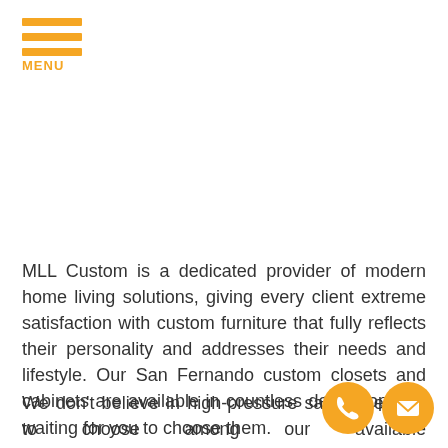[Figure (logo): Orange hamburger menu icon with three horizontal bars and MENU text below]
MLL Custom is a dedicated provider of modern home living solutions, giving every client extreme satisfaction with custom furniture that fully reflects their personality and addresses their needs and lifestyle. Our San Fernando custom closets and cabinets are available in countless design options waiting for you to choose them.
We don't believe in high-pressure sales, feel free to choose among our available inspiration, us the specifie details you want to be included in...
[Figure (illustration): Two orange circular contact icons — a phone icon and an envelope/email icon]